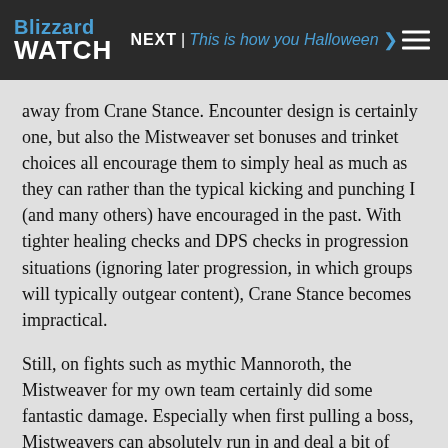Blizzard WATCH | NEXT | This is how you Halloween ❯
away from Crane Stance. Encounter design is certainly one, but also the Mistweaver set bonuses and trinket choices all encourage them to simply heal as much as they can rather than the typical kicking and punching I (and many others) have encouraged in the past. With tighter healing checks and DPS checks in progression situations (ignoring later progression, in which groups will typically outgear content), Crane Stance becomes impractical.
Still, on fights such as mythic Mannoroth, the Mistweaver for my own team certainly did some fantastic damage. Especially when first pulling a boss, Mistweavers can absolutely run in and deal a bit of damage. Early into the fight, most healers ought to be encouraged to do this, as there is usually very little healing in those first few seconds of an encounter. The